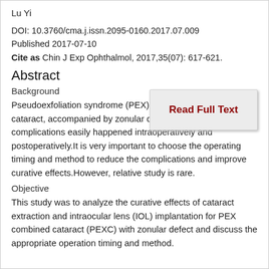Lu Yi
DOI: 10.3760/cma.j.issn.2095-0160.2017.07.009
Published 2017-07-10
Cite as Chin J Exp Ophthalmol, 2017,35(07): 617-621.
Abstract
Background
Pseudoexfoliation syndrome (PEX) is often complicated with cataract, accompanied by zonular defects.Zonular related complications easily happened intraoperatively and postoperatively.It is very important to choose the operating timing and method to reduce the complications and improve curative effects.However, relative study is rare.
Objective
This study was to analyze the curative effects of cataract extraction and intraocular lens (IOL) implantation for PEX combined cataract (PEXC) with zonular defect and discuss the appropriate operation timing and method.